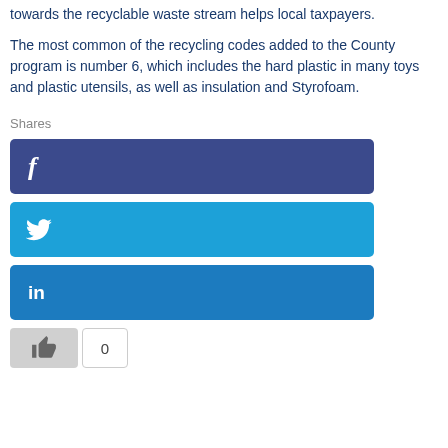towards the recyclable waste stream helps local taxpayers.
The most common of the recycling codes added to the County program is number 6, which includes the hard plastic in many toys and plastic utensils, as well as insulation and Styrofoam.
Shares
[Figure (screenshot): Facebook share button (dark blue rectangle with 'f' icon)]
[Figure (screenshot): Twitter share button (light blue rectangle with bird icon)]
[Figure (screenshot): LinkedIn share button (medium blue rectangle with 'in' text)]
[Figure (screenshot): Like button with thumbs up icon and count showing 0]